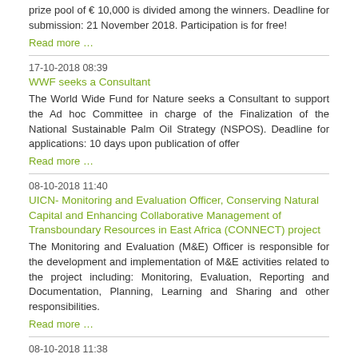prize pool of € 10,000 is divided among the winners. Deadline for submission: 21 November 2018. Participation is for free!
Read more …
17-10-2018 08:39
WWF seeks a Consultant
The World Wide Fund for Nature seeks a Consultant to support the Ad hoc Committee in charge of the Finalization of the National Sustainable Palm Oil Strategy (NSPOS). Deadline for applications: 10 days upon publication of offer
Read more …
08-10-2018 11:40
UICN- Monitoring and Evaluation Officer, Conserving Natural Capital and Enhancing Collaborative Management of Transboundary Resources in East Africa (CONNECT) project
The Monitoring and Evaluation (M&E) Officer is responsible for the development and implementation of M&E activities related to the project including: Monitoring, Evaluation, Reporting and Documentation, Planning, Learning and Sharing and other responsibilities.
Read more …
08-10-2018 11:38
UICN-Project Manager, Conserving Natural Capital and Enhancing Collaborative Management of Transboundary Resources in East Africa (CONNECT) project
Working under the supervision of the International Union for Conservation of Nature ESARO Technical Coordinator, Conservation Areas & Species Programme, the Project Manager will be responsible for the performance, communications, partner relationships, and all technical aspects of the project as well as developing and maintaining strong relationships with the East